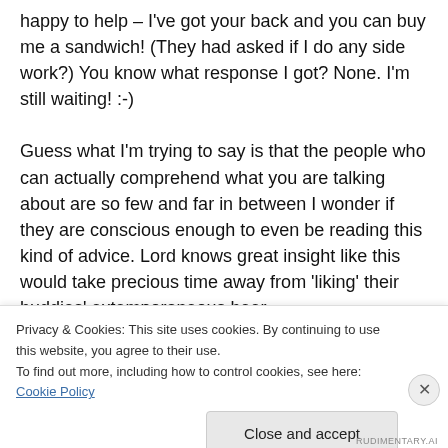happy to help – I've got your back and you can buy me a sandwich! (They had asked if I do any side work?) You know what response I got? None. I'm still waiting! :-)
Guess what I'm trying to say is that the people who can actually comprehend what you are talking about are so few and far in between I wonder if they are conscious enough to even be reading this kind of advice. Lord knows great insight like this would take precious time away from 'liking' their buddies' extemporaneous beer
Privacy & Cookies: This site uses cookies. By continuing to use this website, you agree to their use.
To find out more, including how to control cookies, see here: Cookie Policy
Close and accept
RUDIMENTARY.AI